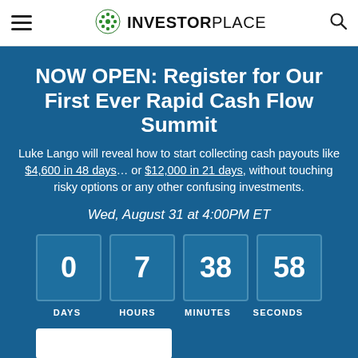INVESTORPLACE
NOW OPEN: Register for Our First Ever Rapid Cash Flow Summit
Luke Lango will reveal how to start collecting cash payouts like $4,600 in 48 days… or $12,000 in 21 days, without touching risky options or any other confusing investments.
Wed, August 31 at 4:00PM ET
[Figure (infographic): Countdown timer showing 0 DAYS, 7 HOURS, 38 MINUTES, 58 SECONDS]